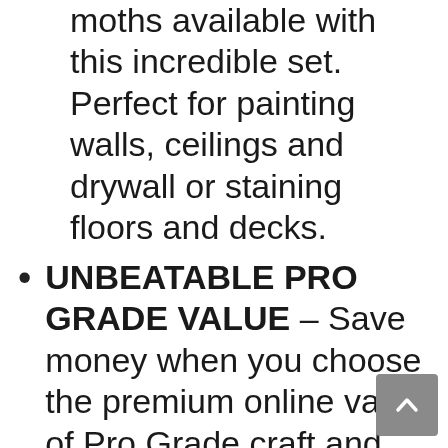moths available with this incredible set. Perfect for painting walls, ceilings and drywall or staining floors and decks.
UNBEATABLE PRO GRADE VALUE – Save money when you choose the premium online value of Pro Grade craft and painting supplies. Our online storefront lets us keep overhead costs low and put more money back in YOUR pocket! Get brand-name results at a fraction of the cost.
SUPERIOR HIGH QUALITY –